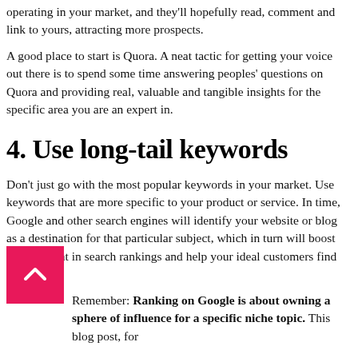operating in your market, and they'll hopefully read, comment and link to yours, attracting more prospects.
A good place to start is Quora. A neat tactic for getting your voice out there is to spend some time answering peoples' questions on Quora and providing real, valuable and tangible insights for the specific area you are an expert in.
4. Use long-tail keywords
Don't just go with the most popular keywords in your market. Use keywords that are more specific to your product or service. In time, Google and other search engines will identify your website or blog as a destination for that particular subject, which in turn will boost your content in search rankings and help your ideal customers find you.
Remember: Ranking on Google is about owning a sphere of influence for a specific niche topic. This blog post, for example, is targeted for those who want specific learnings on